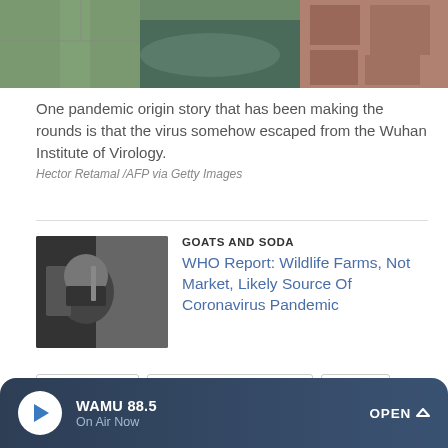[Figure (photo): Aerial view of what appears to be the Wuhan Institute of Virology area with roads, water, and buildings]
One pandemic origin story that has been making the rounds is that the virus somehow escaped from the Wuhan Institute of Virology.
Hector Retamal /AFP via Getty Images
[Figure (photo): Person wearing a mask leaning out of a car window holding a phone or device]
GOATS AND SODA
WHO Report: Wildlife Farms, Not Market, Likely Source Of Coronavirus Pandemic
lab leak theory
wuhan institute of virology
covid-19
pandemic
coronavirus
world health organization
china
WAMU 88.5 On Air Now OPEN